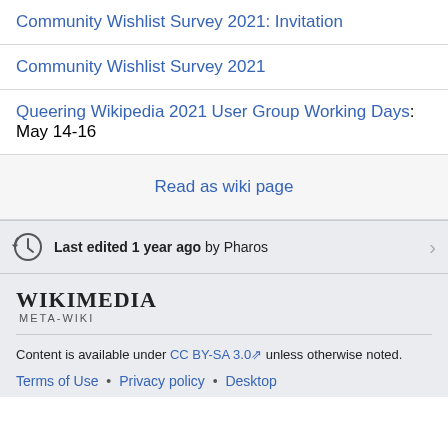Community Wishlist Survey 2021: Invitation
Community Wishlist Survey 2021
Queering Wikipedia 2021 User Group Working Days: May 14-16
Read as wiki page
Last edited 1 year ago by Pharos
[Figure (logo): Wikimedia Meta-Wiki logo]
Content is available under CC BY-SA 3.0 unless otherwise noted.
Terms of Use • Privacy policy • Desktop